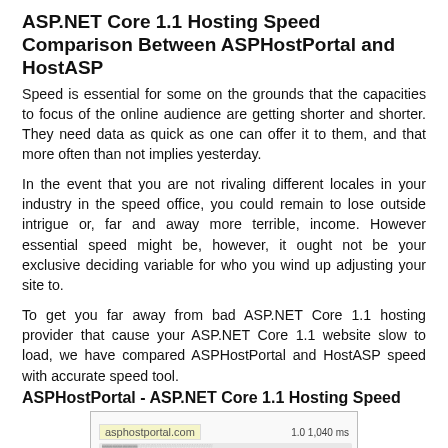ASP.NET Core 1.1 Hosting Speed Comparison Between ASPHostPortal and HostASP
Speed is essential for some on the grounds that the capacities to focus of the online audience are getting shorter and shorter. They need data as quick as one can offer it to them, and that more often than not implies yesterday.
In the event that you are not rivaling different locales in your industry in the speed office, you could remain to lose outside intrigue or, far and away more terrible, income. However essential speed might be, however, it ought not be your exclusive deciding variable for who you wind up adjusting your site to.
To get you far away from bad ASP.NET Core 1.1 hosting provider that cause your ASP.NET Core 1.1 website slow to load, we have compared ASPHostPortal and HostASP speed with accurate speed tool.
ASPHostPortal - ASP.NET Core 1.1 Hosting Speed
[Figure (screenshot): Screenshot of asphostportal.com speed test result showing URL bar and speed measurement]